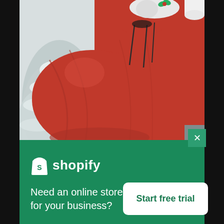[Figure (photo): Santa Claus holding a large red velvet gift bag against a snowy outdoor background with a Christmas tree. Santa is wearing white gloves and red coat with white fur trim. A gray belt buckle is visible.]
[Figure (logo): Shopify logo: white shopping bag icon with letter S, followed by white text 'shopify']
Need an online store for your business?
Start free trial